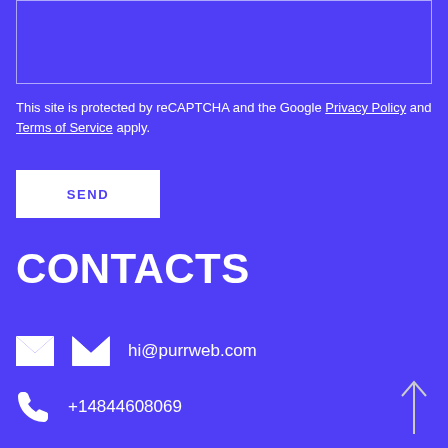[Figure (other): Empty text area input box with white border on purple background]
This site is protected by reCAPTCHA and the Google Privacy Policy and Terms of Service apply.
SEND
CONTACTS
hi@purrweb.com
+14844608069